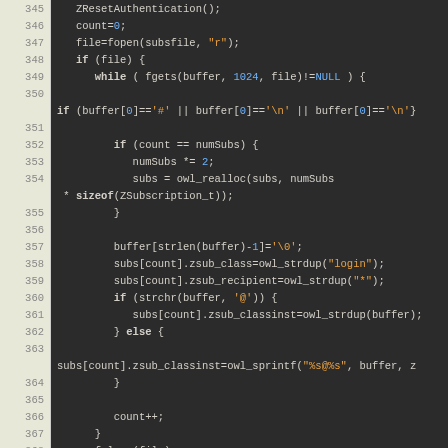[Figure (screenshot): Source code listing in a dark-themed code editor showing lines 345-374 of C code for reading subscription data from a file.]